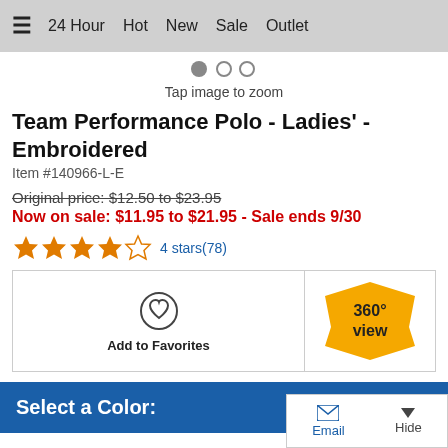≡  24 Hour  Hot  New  Sale  Outlet
Tap image to zoom
Team Performance Polo - Ladies' - Embroidered
Item #140966-L-E
Original price: $12.50 to $23.95
Now on sale: $11.95 to $21.95 - Sale ends 9/30
4 stars(78)
Add to Favorites
360° view
Select a Color:
Email  Hide